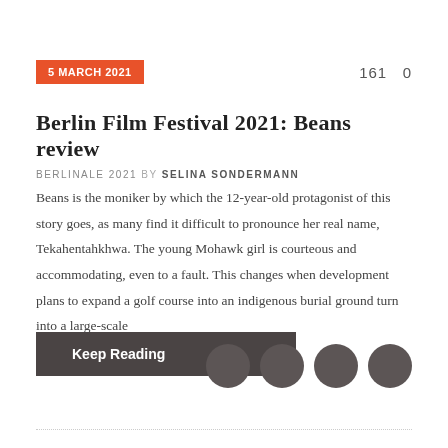5 MARCH 2021
161   0
Berlin Film Festival 2021: Beans review
BERLINALE 2021 BY SELINA SONDERMANN
Beans is the moniker by which the 12-year-old protagonist of this story goes, as many find it difficult to pronounce her real name, Tekahentahkhwa. The young Mohawk girl is courteous and accommodating, even to a fault. This changes when development plans to expand a golf course into an indigenous burial ground turn into a large-scale
Keep Reading